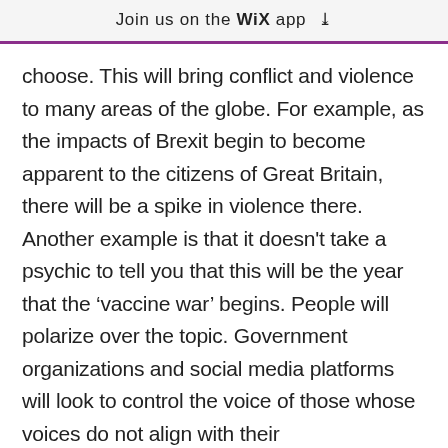Join us on the WiX app
choose. This will bring conflict and violence to many areas of the globe. For example, as the impacts of Brexit begin to become apparent to the citizens of Great Britain, there will be a spike in violence there. Another example is that it doesn't take a psychic to tell you that this will be the year that the ‘vaccine war’ begins. People will polarize over the topic. Government organizations and social media platforms will look to control the voice of those whose voices do not align with their